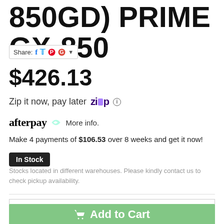850GD) PRIME GX-850
Share:
$426.13
Zip it now, pay later
afterpay More info.
Make 4 payments of $106.53 over 8 weeks and get it now!
In Stock
Stocks located in different warehouses. Please kindly contact us to check pickup availability.
1
Add to Cart